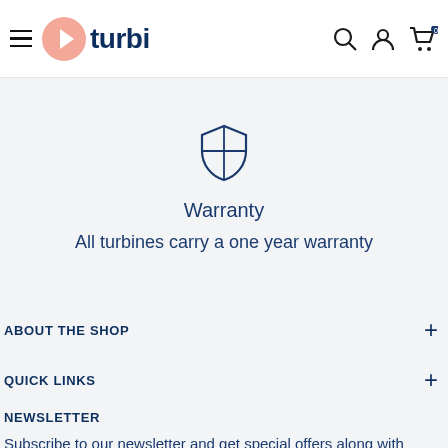turbi — navigation header with hamburger menu, logo, search, account, and cart icons
[Figure (illustration): Shield with cross/quartered design icon]
Warranty
All turbines carry a one year warranty
ABOUT THE SHOP
QUICK LINKS
NEWSLETTER
Subscribe to our newsletter and get special offers along with